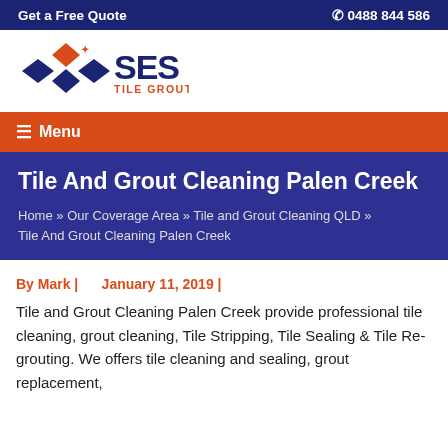Get a Free Quote   0488 844 586
[Figure (logo): SES Tile Grout Cleaning logo with orange diamond shapes and blue text]
☰ Menu
Tile And Grout Cleaning Palen Creek
Home » Our Coverage Area » Tile and Grout Cleaning QLD » Tile And Grout Cleaning Palen Creek
By Mark |   January 11, 2019 |
Tile and Grout Cleaning Palen Creek provide professional tile cleaning, grout cleaning, Tile Stripping, Tile Sealing & Tile Re-grouting. We offers tile cleaning and sealing, grout replacement,